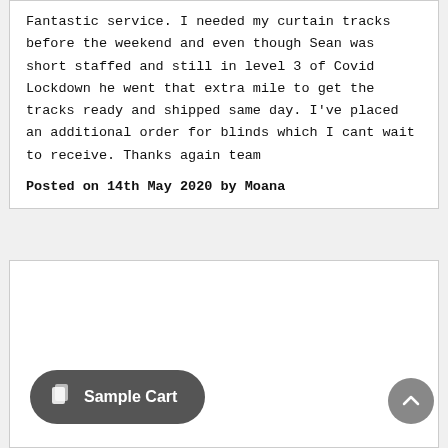Fantastic service. I needed my curtain tracks before the weekend and even though Sean was short staffed and still in level 3 of Covid Lockdown he went that extra mile to get the tracks ready and shipped same day. I've placed an additional order for blinds which I cant wait to receive. Thanks again team
Posted on 14th May 2020 by Moana
[Figure (screenshot): Empty white card section below the review]
Sample Cart